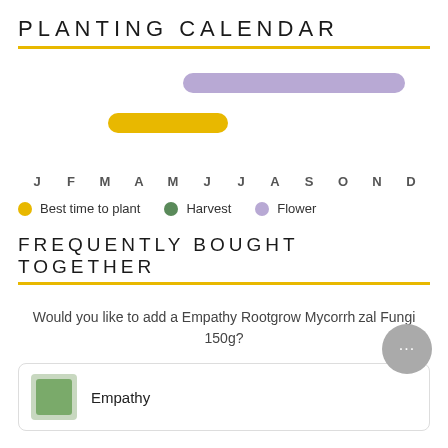PLANTING CALENDAR
[Figure (infographic): Planting calendar showing two horizontal bars across a 12-month axis (J F M A M J J A S O N D). A purple bar spans approximately May through October (flower period). A yellow/gold bar spans approximately February through April (best time to plant). Legend: yellow dot = Best time to plant, green dot = Harvest, purple dot = Flower.]
FREQUENTLY BOUGHT TOGETHER
Would you like to add a Empathy Rootgrow Mycorrhizal Fungi 150g?
Empathy